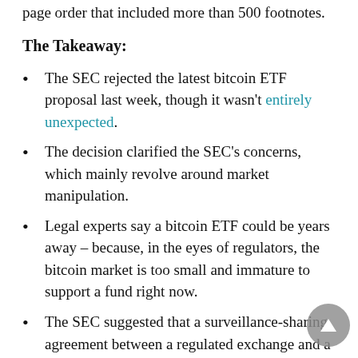page order that included more than 500 footnotes.
The Takeaway:
The SEC rejected the latest bitcoin ETF proposal last week, though it wasn't entirely unexpected.
The decision clarified the SEC's concerns, which mainly revolve around market manipulation.
Legal experts say a bitcoin ETF could be years away – because, in the eyes of regulators, the bitcoin market is too small and immature to support a fund right now.
The SEC suggested that a surveillance-sharing agreement between a regulated exchange and a bitcoin market of "significant" size might help allow its success.